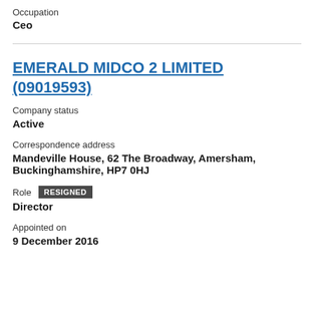Occupation
Ceo
EMERALD MIDCO 2 LIMITED (09019593)
Company status
Active
Correspondence address
Mandeville House, 62 The Broadway, Amersham, Buckinghamshire, HP7 0HJ
Role RESIGNED
Director
Appointed on
9 December 2016